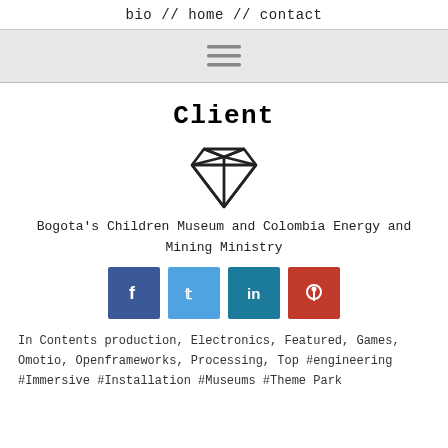bio // home // contact
[Figure (other): Hamburger menu icon (three horizontal lines) on a light grey banner]
Client
[Figure (illustration): Diamond gem icon outlined in black]
Bogota's Children Museum and Colombia Energy and Mining Ministry
[Figure (infographic): Social media share buttons: Facebook (blue), Twitter (light blue), LinkedIn (teal), Pinterest (red)]
In Contents production, Electronics, Featured, Games, Omotio, Openframeworks, Processing, Top #engineering #Immersive #Installation #Museums #Theme Park